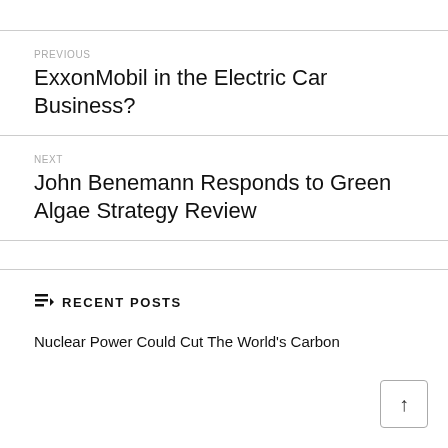PREVIOUS
ExxonMobil in the Electric Car Business?
NEXT
John Benemann Responds to Green Algae Strategy Review
RECENT POSTS
Nuclear Power Could Cut The World's Carbon